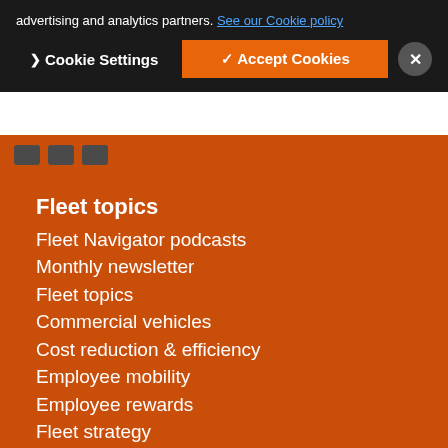advertising and analytics partners. See our Cookie policy
[Figure (screenshot): Cookie consent banner with dark background showing Cookie Settings button and Accept Cookies button in orange, plus close X button]
Fleet topics
Fleet Navigator podcasts
Monthly newsletter
Fleet topics
Commercial vehicles
Cost reduction & efficiency
Employee mobility
Employee rewards
Fleet strategy
International
Optimisation & technology
Safety & risk
Sustainability
Tax & funding